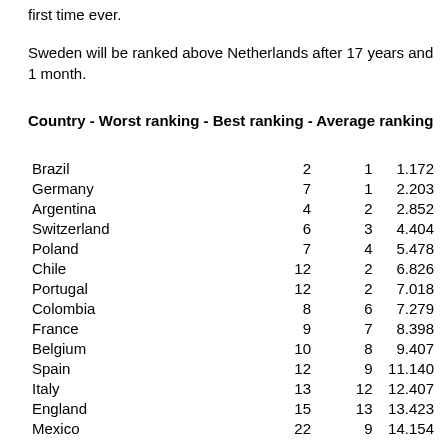first time ever.
Sweden will be ranked above Netherlands after 17 years and 1 month.
Country - Worst ranking - Best ranking - Average ranking
| Country | Worst ranking | Best ranking | Average ranking |
| --- | --- | --- | --- |
| Brazil | 2 | 1 | 1.172 |
| Germany | 7 | 1 | 2.203 |
| Argentina | 4 | 2 | 2.852 |
| Switzerland | 6 | 3 | 4.404 |
| Poland | 7 | 4 | 5.478 |
| Chile | 12 | 2 | 6.826 |
| Portugal | 12 | 2 | 7.018 |
| Colombia | 8 | 6 | 7.279 |
| France | 9 | 7 | 8.398 |
| Belgium | 10 | 8 | 9.407 |
| Spain | 12 | 9 | 11.140 |
| Italy | 13 | 12 | 12.407 |
| England | 15 | 13 | 13.423 |
| Mexico | 22 | 9 | 14.154 |